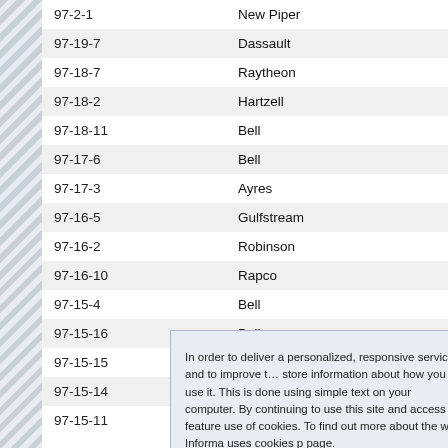| Code | Manufacturer |
| --- | --- |
| 97-2-1 | New Piper |
| 97-19-7 | Dassault |
| 97-18-7 | Raytheon |
| 97-18-2 | Hartzell |
| 97-18-11 | Bell |
| 97-17-6 | Bell |
| 97-17-3 | Ayres |
| 97-16-5 | Gulfstream |
| 97-16-2 | Robinson |
| 97-16-10 | Rapco |
| 97-15-4 | Bell |
| 97-15-16 | Bell |
| 97-15-15 | Eurocopter |
| 97-15-14 | Piaggio |
| 97-15-11 | Textron |
In order to deliver a personalized, responsive service and to improve the site, we store information about how you use it. This is done using simple text files called cookies on your computer. By continuing to use this site and access its features, you are agreeing to our use of cookies. To find out more about the way Informa uses cookies please go to our cookie policy page.